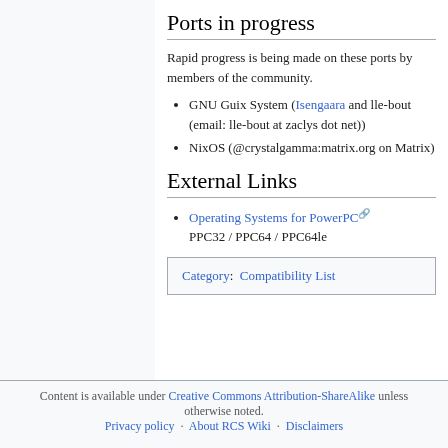Ports in progress
Rapid progress is being made on these ports by members of the community.
GNU Guix System (Isengaara and lle-bout (email: lle-bout at zaclys dot net))
NixOS (@crystalgamma:matrix.org on Matrix)
External Links
Operating Systems for PowerPC PPC32 / PPC64 / PPC64le
Category: Compatibility List
Content is available under Creative Commons Attribution-ShareAlike unless otherwise noted. Privacy policy · About RCS Wiki · Disclaimers